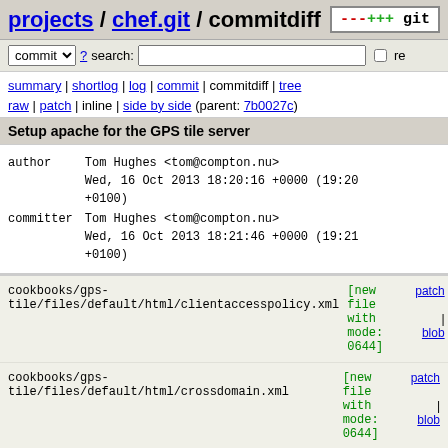projects / chef.git / commitdiff
commit  ?  search:   re
summary | shortlog | log | commit | commitdiff | tree
raw | patch | inline | side by side (parent: 7b0027c)
Setup apache for the GPS tile server
author      Tom Hughes <tom@compton.nu>
            Wed, 16 Oct 2013 18:20:16 +0000 (19:20 +0100)
committer   Tom Hughes <tom@compton.nu>
            Wed, 16 Oct 2013 18:21:46 +0000 (19:21 +0100)
cookbooks/gps-tile/files/default/html/clientaccesspolicy.xml   [new file with mode: 0644]   patch | blob
cookbooks/gps-tile/files/default/html/crossdomain.xml   [new file with mode: 0644]   patch | blob